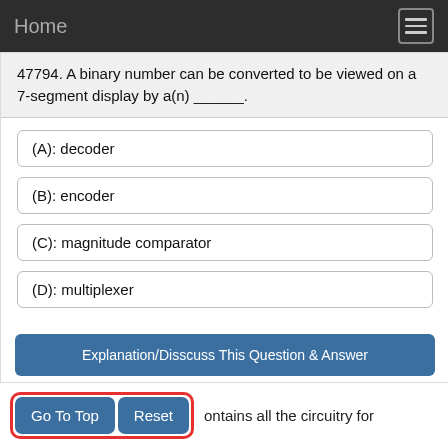Home
47794. A binary number can be converted to be viewed on a 7-segment display by a(n) ______.
(A): decoder
(B): encoder
(C): magnitude comparator
(D): multiplexer
Explanation/Disscuss This Question & Answer
Add Tags
Report Error
Show Marks
Go To Top
Reset
ontains all the circuitry for